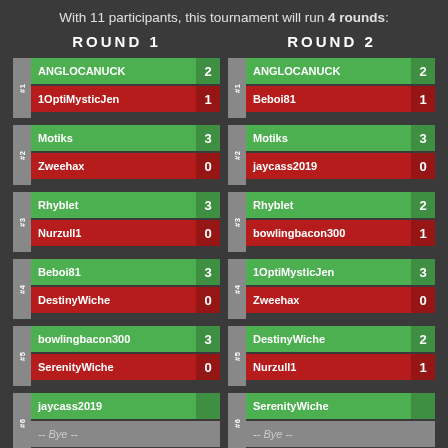With 11 participants, this tournament will run 4 rounds:
ROUND 1
| # | Player | Score |
| --- | --- | --- |
| #1 | ANGLOCANUCK | 2 |
| #1 | 1OptiMysticJen | 1 |
| #2 | Motiks | 3 |
| #2 | Zweehax | 0 |
| #3 | Rhyblet | 3 |
| #3 | Nurzull1 | 0 |
| #4 | Beboi81 | 3 |
| #4 | DestinyWiche | 0 |
| #5 | bowlingbacon300 | 3 |
| #5 | SerenityWiche | 0 |
| #6 | jaycass2019 | -- |
| #6 | -- Bye -- |  |
ROUND 2
| # | Player | Score |
| --- | --- | --- |
| #1 | ANGLOCANUCK | 2 |
| #1 | Beboi81 | 1 |
| #2 | Motiks | 3 |
| #2 | jaycass2019 | 0 |
| #3 | Rhyblet | 2 |
| #3 | bowlingbacon300 | 1 |
| #4 | 1OptiMysticJen | 3 |
| #4 | Zweehax | 0 |
| #5 | DestinyWiche | 2 |
| #5 | Nurzull1 | 1 |
| #6 | SerenityWiche | -- |
| #6 | -- Bye -- |  |